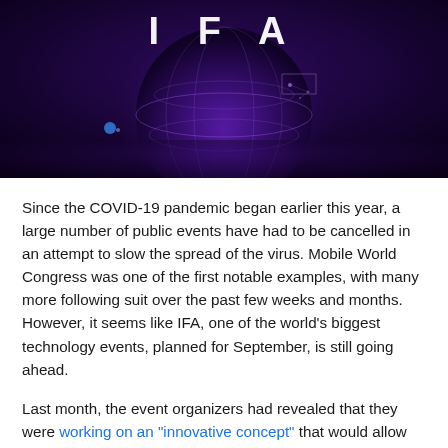[Figure (photo): Dark purple image with a glowing digital globe and large white text letters 'IFA' at the top center]
Since the COVID-19 pandemic began earlier this year, a large number of public events have had to be cancelled in an attempt to slow the spread of the virus. Mobile World Congress was one of the first notable examples, with many more following suit over the past few weeks and months. However, it seems like IFA, one of the world's biggest technology events, planned for September, is still going ahead.
Last month, the event organizers had revealed that they were working on an "innovative concept" that would allow the event to go through during this time, and